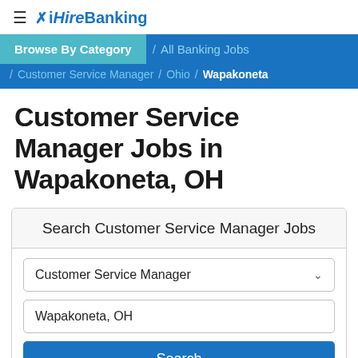≡ ✕ iHireBanking
Browse By Category / All Banking Jobs / Customer Service Manager / Ohio / Wapakoneta
Customer Service Manager Jobs in Wapakoneta, OH
Search Customer Service Manager Jobs
Customer Service Manager [dropdown]
Wapakoneta, OH
Search